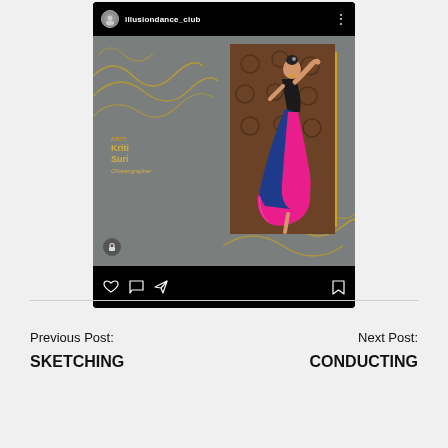[Figure (screenshot): Instagram post screenshot from illusiondance_club showing a classical Indian dancer named Kriti Suri, choreographer, posed elegantly in colorful attire against a grey background with golden wave decorations and yellow rectangle accent.]
Previous Post:
Next Post:
SKETCHING
CONDUCTING